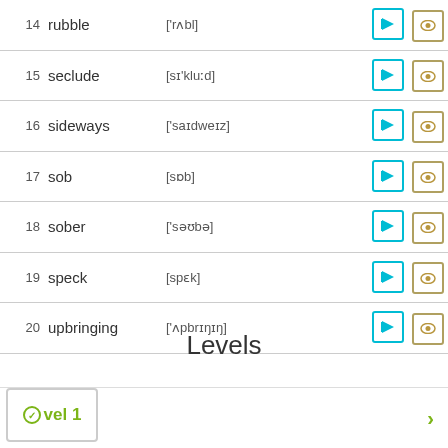| # | Word | Phonetic | Actions |
| --- | --- | --- | --- |
| 14 | rubble | ['rʌbl] |  |
| 15 | seclude | [sɪ'kluːd] |  |
| 16 | sideways | ['saɪdweɪz] |  |
| 17 | sob | [sɒb] |  |
| 18 | sober | ['səʊbə] |  |
| 19 | speck | [spɛk] |  |
| 20 | upbringing | ['ʌpbrɪŋɪŋ] |  |
Levels
Level 1